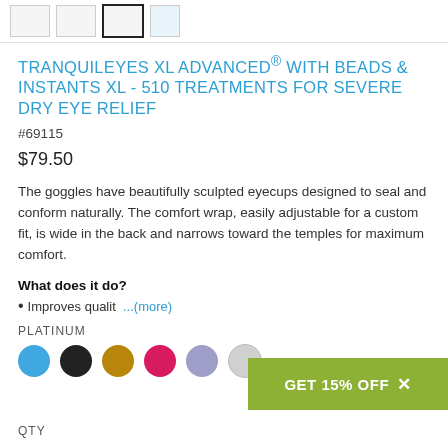[Figure (other): Thumbnail image navigation bar with four product image thumbnails; third one is selected with a bold border]
TRANQUILEYES XL ADVANCED® WITH BEADS & INSTANTS XL - 510 TREATMENTS FOR SEVERE DRY EYE RELIEF
#69115
$79.50
The goggles have beautifully sculpted eyecups designed to seal and conform naturally. The comfort wrap, easily adjustable for a custom fit, is wide in the back and narrows toward the temples for maximum comfort.
What does it do?
Improves qualit ...(more)
PLATINUM
[Figure (other): Six color option circles: blue (selected), black, gold/dark yellow, pink/magenta, lavender, and light gray/silver]
[Figure (other): Green promotional button reading GET 15% OFF with an X close icon]
QTY